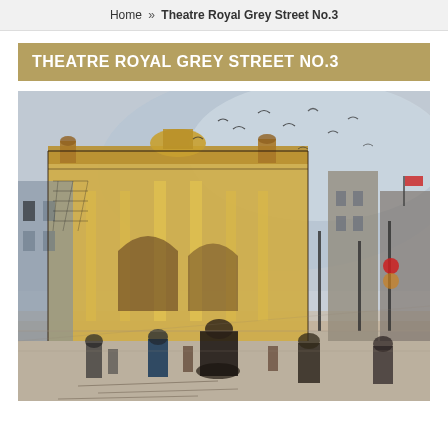Home » Theatre Royal Grey Street No.3
THEATRE ROYAL GREY STREET NO.3
[Figure (illustration): A loose watercolour and ink sketch illustration of Theatre Royal on Grey Street, Newcastle. The grand classical building with columns and ornate facade is depicted in warm golden-yellow tones. The busy street scene below shows pedestrians and figures in dark coats, with birds flying in a pale blue-grey sky. Buildings line the right side of the street receding into the distance, with flags and a red traffic light visible.]